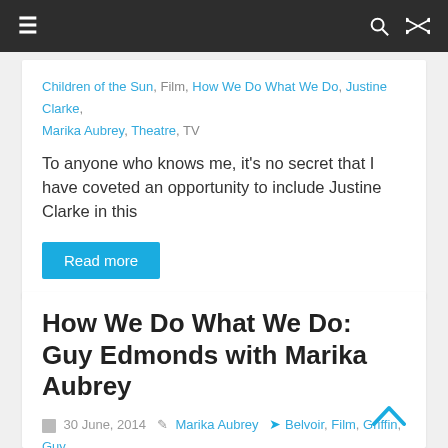≡  🔍  ⇄
Children of the Sun, Film, How We Do What We Do, Justine Clarke, Marika Aubrey, Theatre, TV
To anyone who knows me, it's no secret that I have coveted an opportunity to include Justine Clarke in this
Read more
How We Do What We Do: Guy Edmonds with Marika Aubrey
30 June, 2014  Marika Aubrey  Belvoir, Film, Griffin, Guy Edmonds, Holding The Man, Malthouse Theatre, Marika Aubrey, Theatre
Like so many theatre-goers, I first noticed Guy Edmonds in